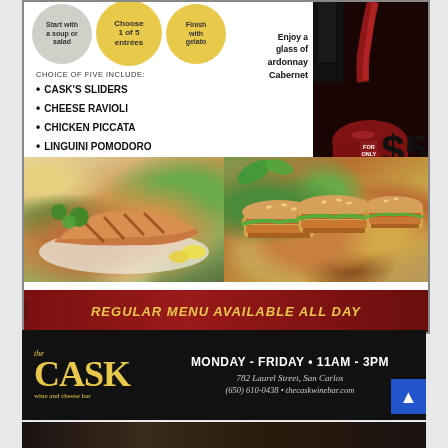[Figure (photo): Restaurant menu ad for The Cask wine and cheese bar showing three circular icons (start with soup/salad, choose 1 of 5 entrees, finish with gelato), a wine glass with red wine being poured, menu items listed, food photos of salmon and sliders, a red banner, and restaurant info bar]
Start with a soup or salad
Choose 1 of 5 entrees
Finish with gelato
CHOICE OF FIVE INCLUDE:
CASK'S SLIDERS
CHEESE RAVIOLI
CHICKEN PICCATA
LINGUINI POMODORO
PAN SEARED SALMON
Enjoy a glass of Chardonnay or Cabernet FOR ONLY $5
REGULAR MENU AVAILABLE ALL DAY
the CASK wine and cheese bar
MONDAY - FRIDAY • 11AM - 3PM
782 Laurel Street, San Carlos
(650) 610-0438 • thecaskwinebar.com